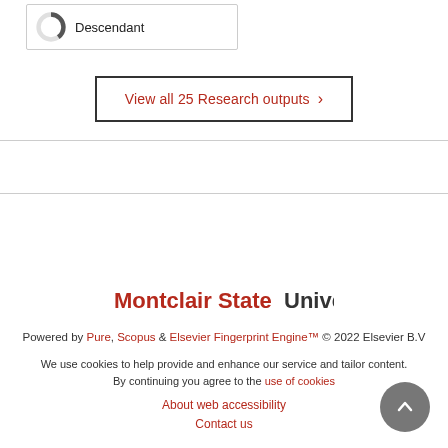[Figure (donut-chart): Partial donut/pie chart icon showing approximately 60% fill, next to label 'Descendant']
View all 25 Research outputs »
Montclair State University
Powered by Pure, Scopus & Elsevier Fingerprint Engine™ © 2022 Elsevier B.V
We use cookies to help provide and enhance our service and tailor content. By continuing you agree to the use of cookies
About web accessibility
Contact us